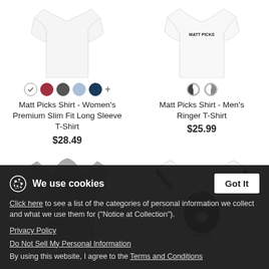[Figure (photo): Women's premium slim fit long sleeve white t-shirt product image, partial view of garment]
[Figure (photo): Men's ringer t-shirt white with Matt Picks logo, partial product image]
Matt Picks Shirt - Women's Premium Slim Fit Long Sleeve T-Shirt
$28.49
Matt Picks Shirt - Men's Ringer T-Shirt
$25.99
[Figure (photo): Grey hoodie product image, partial view]
[Figure (photo): White ringer t-shirt with Matt Picks graphic, partial view]
We use cookies
Click here to see a list of the categories of personal information we collect and what we use them for ("Notice at Collection").
Privacy Policy
Do Not Sell My Personal Information
By using this website, I agree to the Terms and Conditions